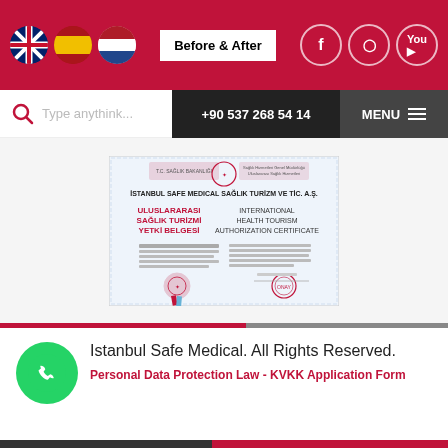[Figure (screenshot): Website header navigation bar with flags (UK, Spain, Netherlands), Before & After button, social media icons (Facebook, Instagram, YouTube) on crimson background]
[Figure (screenshot): Search bar with magnifier icon and placeholder 'Type anythink...', phone number '+90 537 268 54 14' on dark background, and MENU button]
[Figure (photo): Certificate image: Istanbul Safe Medical Sağlık Turizm Ve Tic. A.Ş. - Uluslararası Sağlık Turizmi Yetki Belgesi / International Health Tourism Authorization Certificate with official stamps and seal]
Istanbul Safe Medical. All Rights Reserved.
Personal Data Protection Law - KVKK Application Form
+90 537 268 54 14